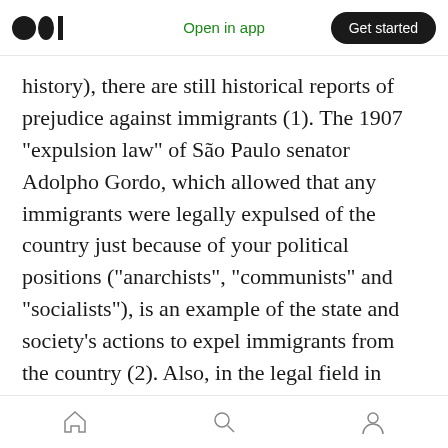Open in app | Get started
history), there are still historical reports of prejudice against immigrants (1). The 1907 “expulsion law” of São Paulo senator Adolpho Gordo, which allowed that any immigrants were legally expulsed of the country just because of your political positions (“archists”, “communists” and “socialists”), is an example of the state and society’s actions to expel immigrants from the country (2). Also, in the legal field in 2017, the amendment of Law №13,445 made it possible for thousands of immigrants to access the country. The alteration
home search profile